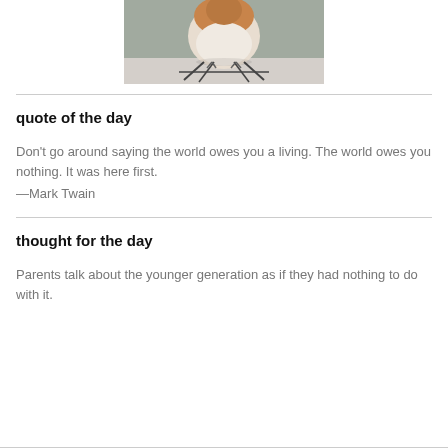[Figure (photo): Close-up photo of a small bird (robin or similar) sitting on a metal stand/wire rack, viewed from behind, showing fluffy round body with orange-brown and white feathers]
quote of the day
Don't go around saying the world owes you a living. The world owes you nothing. It was here first.
—Mark Twain
thought for the day
Parents talk about the younger generation as if they had nothing to do with it.